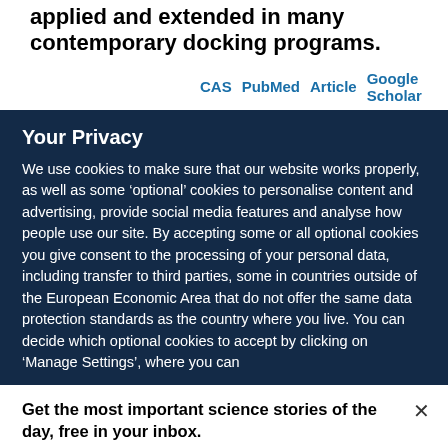applied and extended in many contemporary docking programs.
CAS  PubMed  Article  Google Scholar
Your Privacy
We use cookies to make sure that our website works properly, as well as some ‘optional’ cookies to personalise content and advertising, provide social media features and analyse how people use our site. By accepting some or all optional cookies you give consent to the processing of your personal data, including transfer to third parties, some in countries outside of the European Economic Area that do not offer the same data protection standards as the country where you live. You can decide which optional cookies to accept by clicking on ‘Manage Settings’, where you can
Get the most important science stories of the day, free in your inbox.
Sign up for Nature Briefing